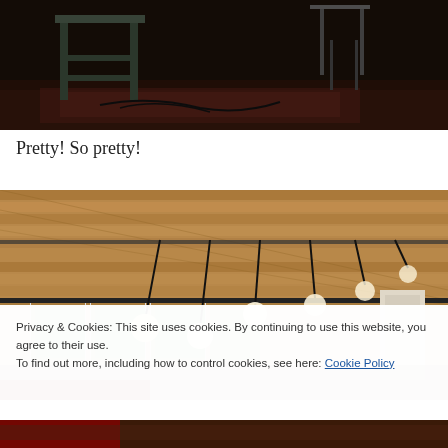[Figure (photo): Dark interior room photo showing metal shelving, chairs, and a patterned rug on the floor]
Pretty! So pretty!
[Figure (photo): Interior room with wooden plank ceiling, hanging globe pendant lights, track lighting, and windows looking out to green trees]
Privacy & Cookies: This site uses cookies. By continuing to use this website, you agree to their use.
To find out more, including how to control cookies, see here: Cookie Policy
Close and accept
[Figure (photo): Partial view of bottom photo showing red furniture]